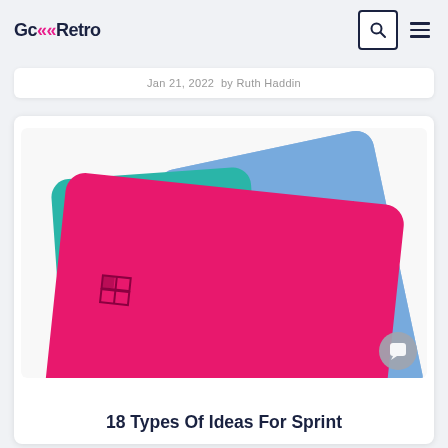GcRetro
Jan 21, 2022  by Ruth Haddin
[Figure (photo): Colorful notebooks stacked and fanned out — magenta/pink, teal/cyan, and blue — with rounded corners, on a white background. Each notebook has a small square window logo on the cover.]
18 Types Of Ideas For Sprint